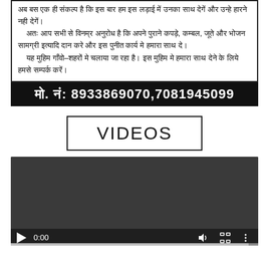अब बस एक ही संकल्प है कि इस बार हम इस लड़ाई में उनका साथ देगें और उन्हे हारने नही देगें। अतः आप सभी से विनम्र अनुरोध है कि अपने पुराने कपड़े, कम्बल, जूते और भोजन सामग्री इत्यादि दान करे और इस पुनीत कार्य मे हमारा साथ दे। यह मुहिम गाँवो–शहरों मे चलाया जा रहा है। इस मुहिम मे हमारा साथ देने के लिये हमसे सम्पर्क करें।
मो. नं: 8933869070,7081945099
VIDEOS
[Figure (screenshot): Video player showing a dark/black video with playback controls at the bottom including play button, time 0:00, volume, fullscreen, and more options icons, with a progress bar at the very bottom.]